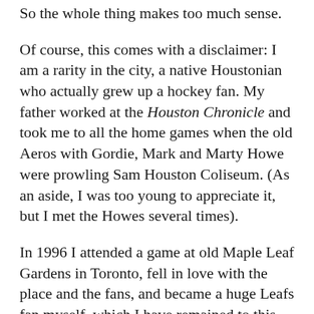So the whole thing makes too much sense.
Of course, this comes with a disclaimer: I am a rarity in the city, a native Houstonian who actually grew up a hockey fan. My father worked at the Houston Chronicle and took me to all the home games when the old Aeros with Gordie, Mark and Marty Howe were prowling Sam Houston Coliseum. (As an aside, I was too young to appreciate it, but I met the Howes several times).
In 1996 I attended a game at old Maple Leaf Gardens in Toronto, fell in love with the place and the fans, and became a huge Leafs fan myself, which I have remained to this day. (And yes, it has been painful until the last two years).
I had ticket packages for the more recent incarnation of the Aeros when they were a Minnesota Wild affiliate. I am